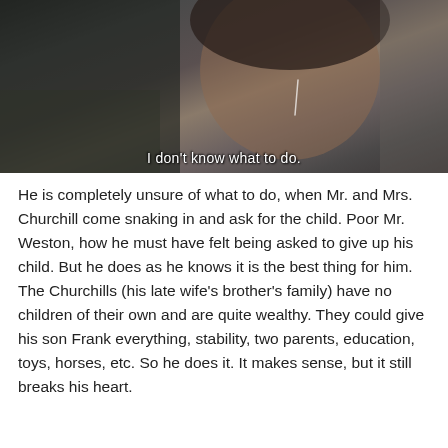[Figure (photo): A young woman with dark hair wearing a jacket, face downcast and crying, with the subtitle 'I don't know what to do.' overlaid at the bottom.]
He is completely unsure of what to do, when Mr. and Mrs. Churchill come snaking in and ask for the child. Poor Mr. Weston, how he must have felt being asked to give up his child. But he does as he knows it is the best thing for him. The Churchills (his late wife's brother's family) have no children of their own and are quite wealthy. They could give his son Frank everything, stability, two parents, education, toys, horses, etc. So he does it. It makes sense, but it still breaks his heart.